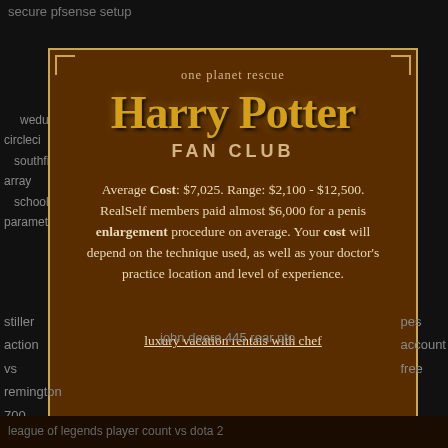secure pfsense setup
weduc
circleci
southfield
array
school
parameter
fem
hilti
harty
stain
potter
steel
wrongly
epox
accused
anch
fanfiction
one planet rescue
Harry Potter FAN CLUB
Average Cost: $7,025. Range: $2,100 - $12,500. RealSelf members paid almost $6,000 for a penis enlargement procedure on average. Your cost will depend on the technique used, as well as your doctor's practice location and level of experience.
luxury vacation rentals with chef
stiller
action
vs
remington
700
john deere 445 rear pto
pes
account
free
league of legends player count vs dota 2